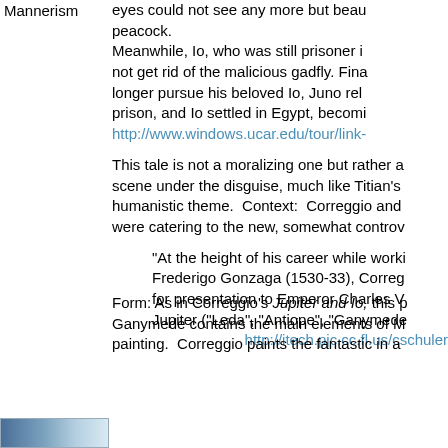Mannerism
eyes could not see any more but beauty... peacock. Meanwhile, Io, who was still prisoner in... not get rid of the malicious gadfly. Fina... longer pursue his beloved Io, Juno rele... prison, and Io settled in Egypt, becomi... http://www.windows.ucar.edu/tour/link-
This tale is not a moralizing one but rather a... scene under the disguise, much like Titian's... humanistic theme. Context: Correggio and... were catering to the new, somewhat controv...
"At the height of his career while worki... Frederigo Gonzaga (1530-33), Correg... for presentation to Emperor Charles V... Jupiter ("Leda", "Antiope", "Ganymede". http://itech.pjc.cc.fl.us/cschuler...
Form: As in Correggio's Jupiter and Io, this p... Ganymede contains the main elements of M... painting. Correggio paints the fantastic in a...
[Figure (illustration): A blue-toned landscape or painting thumbnail in the bottom-left area]